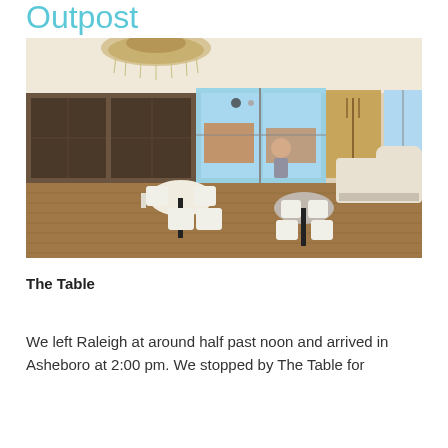Outpost
[Figure (photo): Interior of The Table restaurant in Asheboro: bright, airy dining room with white metal chairs, round tables with marble tops, ornate chandelier, large windows with natural light, wooden bench seating, and warm wood floors.]
The Table
We left Raleigh at around half past noon and arrived in Asheboro at 2:00 pm. We stopped by The Table for